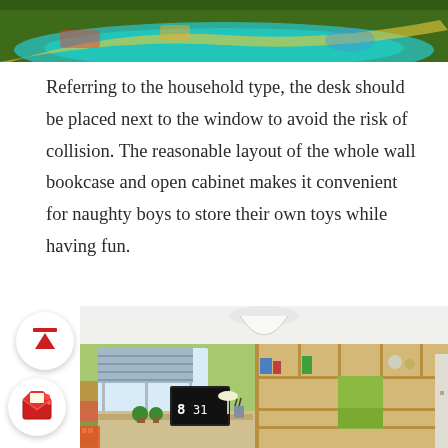[Figure (photo): Top portion of a colorful children's room with green and teal wavy design elements]
Referring to the household type, the desk should be placed next to the window to avoid the risk of collision. The reasonable layout of the whole wall bookcase and open cabinet makes it convenient for naughty boys to store their own toys while having fun.
[Figure (photo): Children's room interior with green walls, wall-mounted bookcase with colorful shelves, desk with clock showing 8:31, pendant light, and small decorative plants]